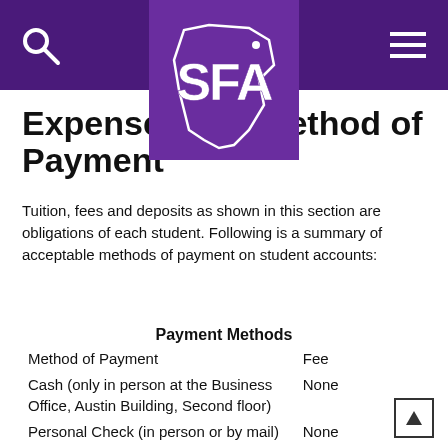SFA header with search, logo, and menu
Expenses and Method of Payment
Tuition, fees and deposits as shown in this section are obligations of each student. Following is a summary of acceptable methods of payment on student accounts:
| Payment Methods |  |
| --- | --- |
| Method of Payment | Fee |
| Cash (only in person at the Business Office, Austin Building, Second floor) | None |
| Personal Check (in person or by mail) | None |
| E-check (via SFA's eBill system) | None |
| Cashier's Check (in person or by | None |